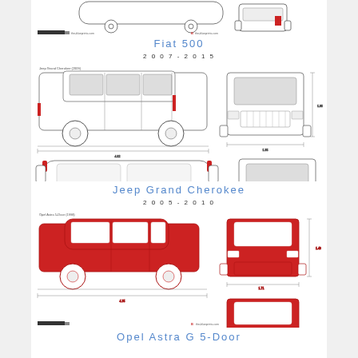[Figure (engineering-diagram): Fiat 500 blueprint - side and front views (partially visible at top)]
Fiat 500
2007 - 2015
[Figure (engineering-diagram): Jeep Grand Cherokee (2005) blueprint - side, front, top, and rear views with dimension lines]
Jeep Grand Cherokee
2005 - 2010
[Figure (engineering-diagram): Opel Astra G 5-Door (1998) blueprint - side and front views in red, with dimension lines, plus rear view below]
Opel Astra G 5-Door